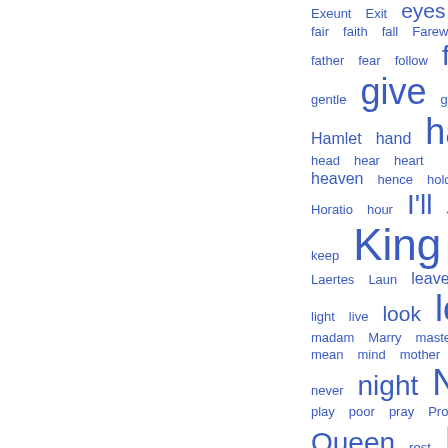[Figure (other): Word cloud / tag cloud of Shakespeare-related terms shown in blue text of varying sizes, displayed in the right half of the page. Words include: Exeunt, Exit, eyes, face, fair, faith, fall, Farewell, father, fear, follow, friar, gentle, give, gone, grace, Hamlet, hand, hath, head, hear, heart, heaven, hence, hold, Horatio, hour, I'll, Juliet, keep, King, lady, Laer, Laertes, Laun, leave, letter, light, live, look, lord, madam, Marry, master, mean, mind, mother, nature, never, night, Nurse, play, poor, pray, Proteus, Queen, rest, Romeo, SCENE, servant, Silvia, speak]